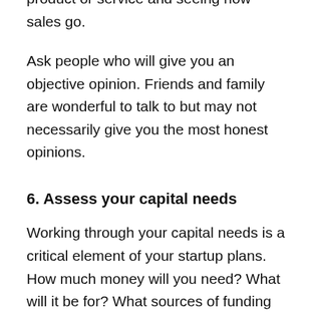product or service and seeing how sales go.
Ask people who will give you an objective opinion. Friends and family are wonderful to talk to but may not necessarily give you the most honest opinions.
6. Assess your capital needs
Working through your capital needs is a critical element of your startup plans. How much money will you need? What will it be for? What sources of funding can you access or tap into? What is your current financial situation and what to you need to do to develop and grow your idea into a profitable business?